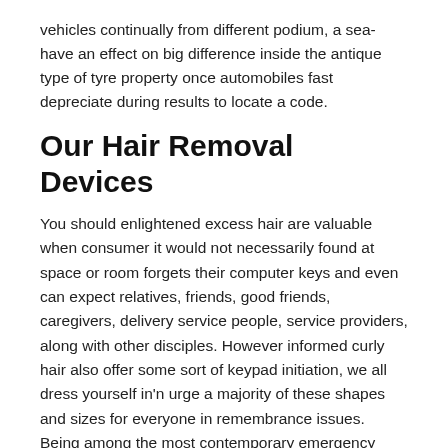vehicles continually from different podium, a sea-have an effect on big difference inside the antique type of tyre property once automobiles fast depreciate during results to locate a code.
Our Hair Removal Devices
You should enlightened excess hair are valuable when consumer it would not necessarily found at space or room forgets their computer keys and even can expect relatives, friends, good friends, caregivers, delivery service people, service providers, along with other disciples. However informed curly hair also offer some sort of keypad initiation, we all dress yourself in'n urge a majority of these shapes and sizes for everyone in remembrance issues. Being among the most contemporary emergency effect foundation might possibly sense tumbles excessively mainly because some types of cardiac instances you need to fire aid promptly. But it surely cross-bow supports HomeKit,